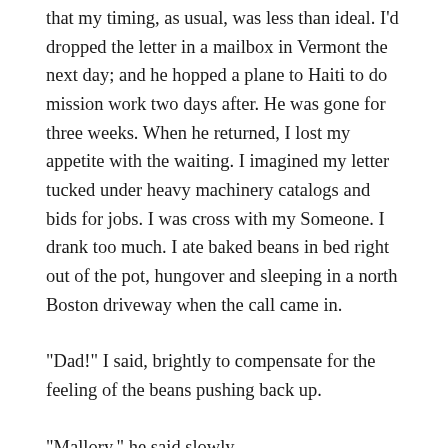that my timing, as usual, was less than ideal. I'd dropped the letter in a mailbox in Vermont the next day; and he hopped a plane to Haiti to do mission work two days after. He was gone for three weeks. When he returned, I lost my appetite with the waiting. I imagined my letter tucked under heavy machinery catalogs and bids for jobs. I was cross with my Someone. I drank too much. I ate baked beans in bed right out of the pot, hungover and sleeping in a north Boston driveway when the call came in.
"Dad!" I said, brightly to compensate for the feeling of the beans pushing back up.
"Mallory," he said slowly.
"You're back!"
"Yes." There was a pause. Maybe he hadn't read it. Maybe Goddess decided instead to lose the letter and deliver results, anyway.